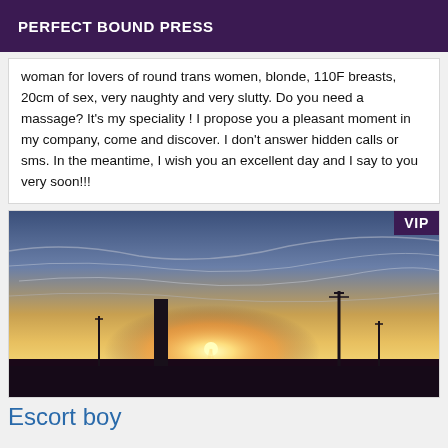PERFECT BOUND PRESS
woman for lovers of round trans women, blonde, 110F breasts, 20cm of sex, very naughty and very slutty. Do you need a massage? It's my speciality ! I propose you a pleasant moment in my company, come and discover. I don't answer hidden calls or sms. In the meantime, I wish you an excellent day and I say to you very soon!!!
[Figure (photo): Sunset photo showing silhouette of a chimney stack and light poles against a colorful sky with clouds. A VIP badge appears in the top right corner.]
Escort boy